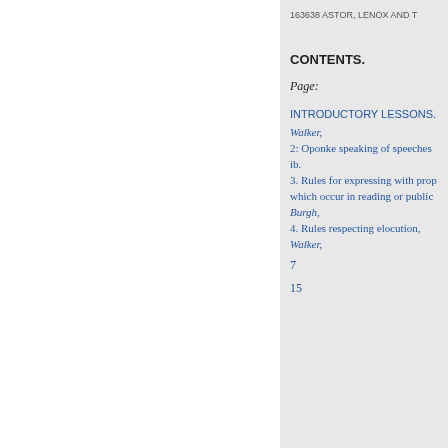163638 ASTOR, LENOX AND T
CONTENTS.
Page:
INTRODUCTORY LESSONS.
Walker,
2: Oponke speaking of speeches
ib.
3. Rules for expressing with prop
which occur in reading or public
Burgh,
4. Rules respecting elocution,
Walker,
7
15